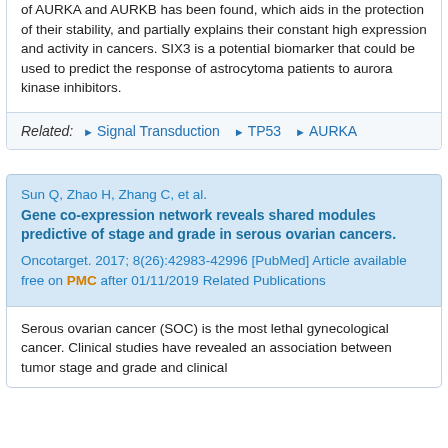of AURKA and AURKB has been found, which aids in the protection of their stability, and partially explains their constant high expression and activity in cancers. SIX3 is a potential biomarker that could be used to predict the response of astrocytoma patients to aurora kinase inhibitors.
Related: ► Signal Transduction ► TP53 ► AURKA
Sun Q, Zhao H, Zhang C, et al.
Gene co-expression network reveals shared modules predictive of stage and grade in serous ovarian cancers.
Oncotarget. 2017; 8(26):42983-42996 [PubMed] Article available free on PMC after 01/11/2019 Related Publications
Serous ovarian cancer (SOC) is the most lethal gynecological cancer. Clinical studies have revealed an association between tumor stage and grade and clinical